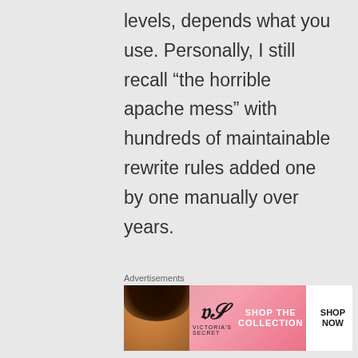levels, depends what you use. Personally, I still recall “the horrible apache mess” with hundreds of maintainable rewrite rules added one by one manually over years.

Kubernetes should integrates ELB and Google Balancers for
Advertisements
[Figure (other): Victoria's Secret advertisement banner with a woman's face on the left, VS logo in the middle, 'SHOP THE COLLECTION' text, and 'SHOP NOW' button on the right, pink gradient background.]